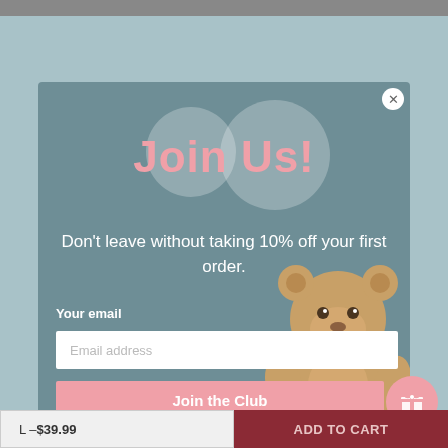[Figure (screenshot): E-commerce website background showing a light teal/blue background with a product page behind a modal popup overlay]
Join Us!
Don't leave without taking 10% off your first order.
Your email
Email address
Join the Club
L – $39.99
ADD TO CART